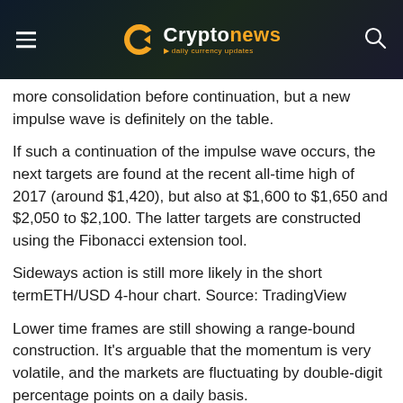Cryptonews · daily currency updates
more consolidation before continuation, but a new impulse wave is definitely on the table.
If such a continuation of the impulse wave occurs, the next targets are found at the recent all-time high of 2017 (around $1,420), but also at $1,600 to $1,650 and $2,050 to $2,100. The latter targets are constructed using the Fibonacci extension tool.
Sideways action is still more likely in the short termETH/USD 4-hour chart. Source: TradingView
Lower time frames are still showing a range-bound construction. It's arguable that the momentum is very volatile, and the markets are fluctuating by double-digit percentage points on a daily basis.